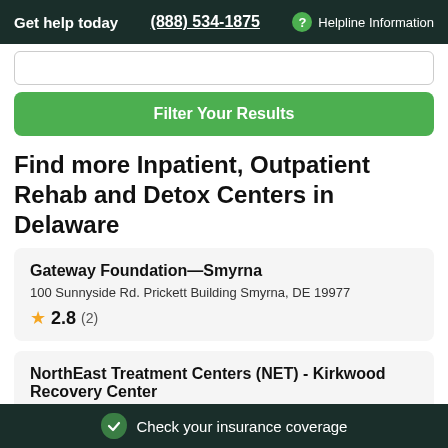Get help today  (888) 534-1875  ? Helpline Information
Filter Your Results
Find more Inpatient, Outpatient Rehab and Detox Centers in Delaware
Gateway Foundation—Smyrna
100 Sunnyside Rd. Prickett Building Smyrna, DE 19977
★ 2.8 (2)
NorthEast Treatment Centers (NET) - Kirkwood Recovery Center
Check your insurance coverage